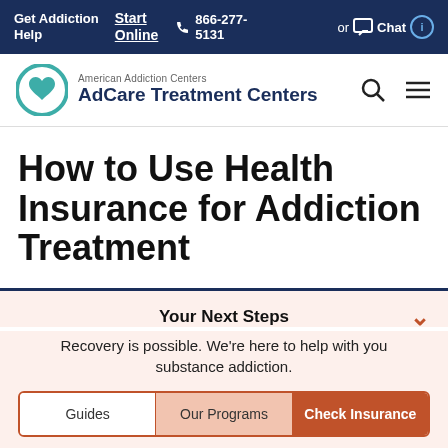Get Addiction Help | Start Online | 866-277-5131 | or Chat
[Figure (logo): American Addiction Centers AdCare Treatment Centers logo with teal circle and heart]
How to Use Health Insurance for Addiction Treatment
Your Next Steps
Recovery is possible. We're here to help with you substance addiction.
Guides
Our Programs
Check Insurance